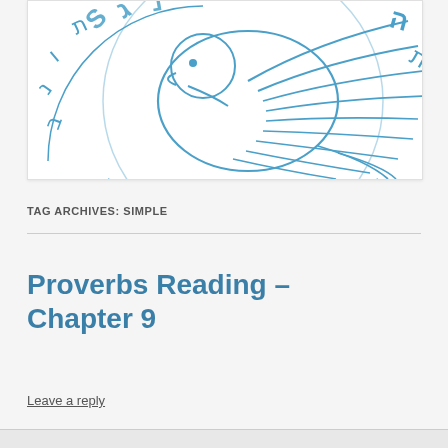[Figure (illustration): Partial view of a blue illustrated logo featuring a bird (possibly an eagle or phoenix) with wing feathers and circular text/lettering around it, on a white background with light gray border]
TAG ARCHIVES: SIMPLE
Proverbs Reading – Chapter 9
Leave a reply